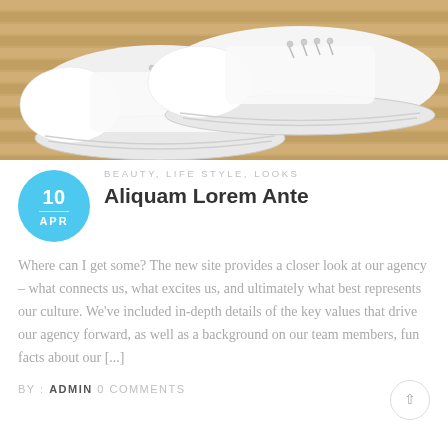[Figure (photo): White canvas sneakers placed on a wooden slatted surface, viewed from above at an angle. Light wood background.]
BEAUTY, LIFE STYLE, LOOKS
Aliquam Lorem Ante
Where can I get some? The new site provides a closer look at our agency – what connects us, what excites us, and ultimately what best represents our culture. We've included in-depth details of the key values that drive our agency forward, as well as a background on our team members, fun facts about our [...]
BY : ADMIN 0 COMMENTS